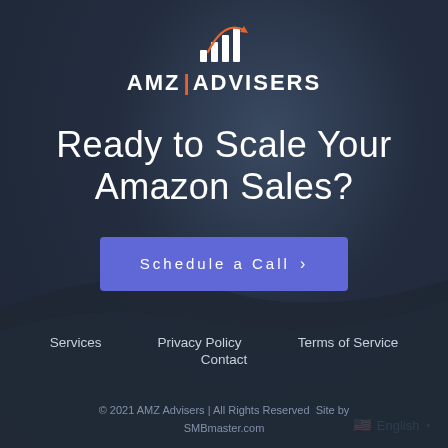[Figure (logo): AMZ Advisers logo with bar chart icon and orange arrow]
Ready to Scale Your Amazon Sales?
Schedule a Call ›
Services   Privacy Policy   Terms of Service
Contact
© 2021 AMZ Advisers | All Rights Reserved  Site by SMBmaster.com
English •